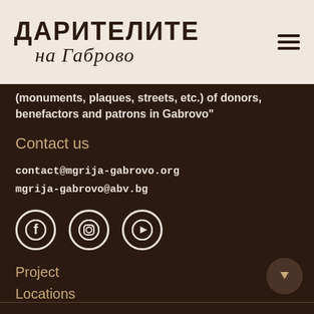[Figure (logo): Logo of 'Дарителите на Габрово' - bold Cyrillic text on top and cursive text on bottom, on a beige/cream background]
(monuments, plaques, streets, etc.) of donors, benefactors and patrons in Gabrovo"
Contact us
contact@mgrija-gabrovo.org
mgrija-gabrovo@abv.bg
[Figure (infographic): Three social media icons: Facebook, Instagram, YouTube - white outlined circles on dark brown background]
Project
Locations
Benefactors